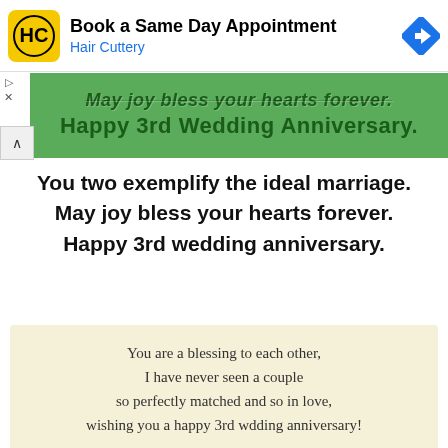[Figure (other): Hair Cuttery advertisement banner with logo, text 'Book a Same Day Appointment / Hair Cuttery', and navigation icon]
[Figure (photo): Green background image with text 'May joy bless your hearts forever.' and 'Happy 3rd Wedding Anniversary.' in dark green]
You two exemplify the ideal marriage. May joy bless your hearts forever. Happy 3rd wedding anniversary.
You are a blessing to each other, I have never seen a couple so perfectly matched and so in love, wishing you a happy 3rd wdding anniversary!